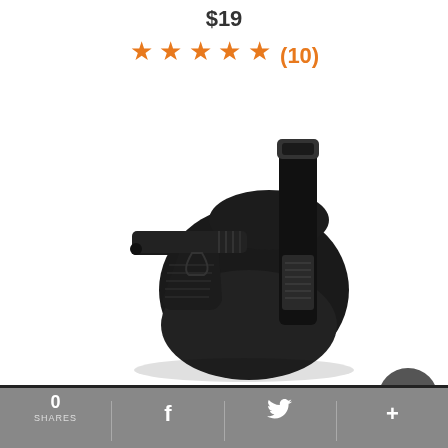$19
★★★★★ (10)
[Figure (photo): Black tactical MOLLE holster with a black pistol partially drawn, showing velcro strap attachment and curved holster body on white background]
Tactical Molle Holster - It. 5100
0 SHARES | f | Twitter | +